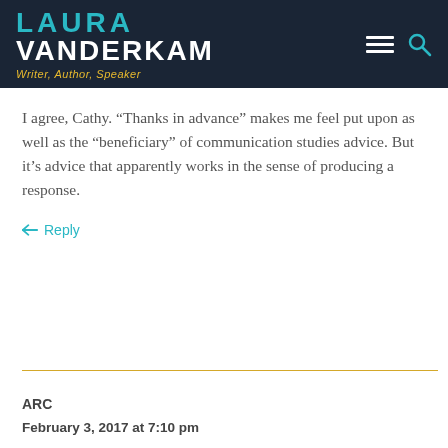LAURA VANDERKAM — Writer, Author, Speaker
I agree, Cathy. “Thanks in advance” makes me feel put upon as well as the “beneficiary” of communication studies advice. But it’s advice that apparently works in the sense of producing a response.
← Reply
ARC
February 3, 2017 at 7:10 pm